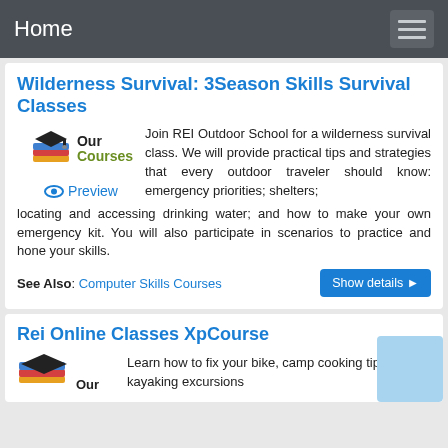Home
Wilderness Survival: 3Season Skills Survival Classes
[Figure (logo): Our Courses logo with graduation cap and books, and a Preview link with eye icon below]
Join REI Outdoor School for a wilderness survival class. We will provide practical tips and strategies that every outdoor traveler should know: emergency priorities; shelters; locating and accessing drinking water; and how to make your own emergency kit. You will also participate in scenarios to practice and hone your skills.
See Also: Computer Skills Courses
Rei Online Classes XpCourse
Learn how to fix your bike, camp cooking tips, kayaking excursions